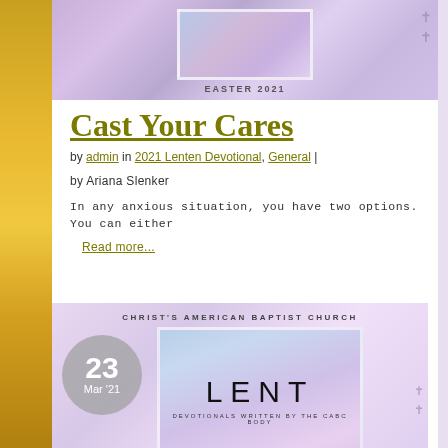[Figure (illustration): Top banner with purple/lavender gradient background, inner image box with cloud/sky imagery, Easter 2021 label, cross decorations on right side]
Cast Your Cares
by admin in 2021 Lenten Devotional, General |
by Ariana Slenker
In any anxious situation, you have two options. You can either
Read more...
[Figure (illustration): Second card with lavender/purple gradient background, date circle showing 23 Mar '21 in gray, Christ's American Baptist Church label, Lent devotional book cover with light blue/purple cloud background, LENT title, 'Devotionals written by the CABC body' subtitle, cross decorations on right]